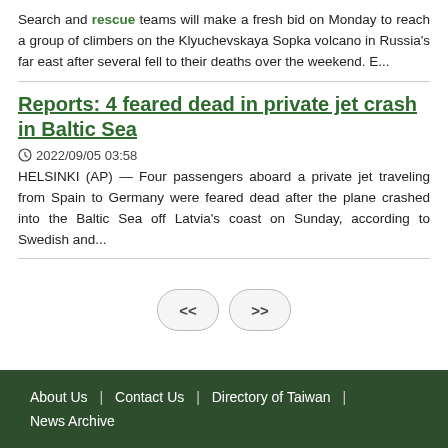Search and rescue teams will make a fresh bid on Monday to reach a group of climbers on the Klyuchevskaya Sopka volcano in Russia's far east after several fell to their deaths over the weekend. E...
Reports: 4 feared dead in private jet crash in Baltic Sea
⊙ 2022/09/05 03:58
HELSINKI (AP) — Four passengers aboard a private jet traveling from Spain to Germany were feared dead after the plane crashed into the Baltic Sea off Latvia's coast on Sunday, according to Swedish and...
About Us | Contact Us | Directory of Taiwan | News Archive